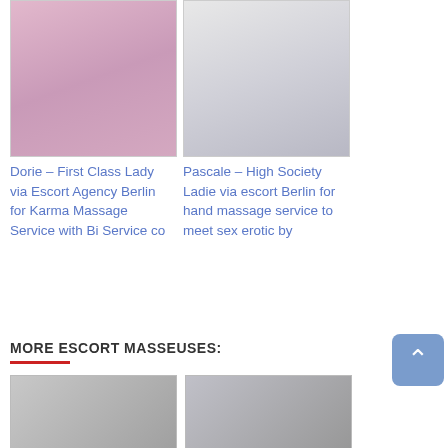[Figure (photo): Photo of a woman posing in a pink room]
[Figure (photo): Photo of a woman sitting on a bed]
Dorie – First Class Lady via Escort Agency Berlin for Karma Massage Service with Bi Service co
Pascale – High Society Ladie via escort Berlin for hand massage service to meet sex erotic by
MORE ESCORT MASSEUSES:
[Figure (photo): Grid of escort masseuse thumbnail photos - left group]
[Figure (photo): Grid of escort masseuse thumbnail photos - right group]